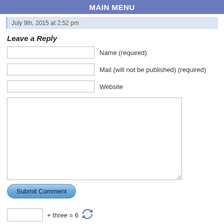MAIN MENU
July 9th, 2015 at 2:52 pm
Leave a Reply
Name (required)
Mail (will not be published) (required)
Website
[comment textarea]
Submit Comment
+ three = 6